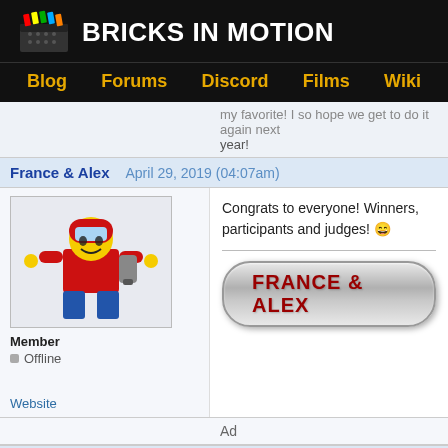BRICKS IN MOTION
Blog  Forums  Discord  Films  Wiki
...my favorite! I so hope we get to do it again next year!
France & Alex  April 29, 2019 (04:07am)
[Figure (illustration): LEGO minifigure avatar - red costume character with jetpack]
Member
Offline
Congrats to everyone! Winners, participants and judges! 😄
[Figure (illustration): Signature button graphic with text FRANCE & ALEX in red on metallic rounded rectangle]
Website
Ad
Von Steuben  May 1, 2019 (08:11am)
[Figure (photo): LEGO minifigure avatar - astronaut/pilot with goggles on red background]
Congratulations to all the winners!